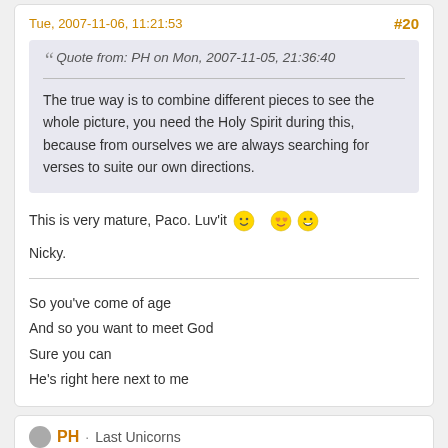Tue, 2007-11-06, 11:21:53   #20
Quote from: PH on Mon, 2007-11-05, 21:36:40
The true way is to combine different pieces to see the whole picture, you need the Holy Spirit during this, because from ourselves we are always searching for verses to suite our own directions.
This is very mature, Paco. Luv'it 🙂 😍😁
Nicky.
So you've come of age
And so you want to meet God
Sure you can
He's right here next to me
PH · Last Unicorns
Tue, 2007-11-06, 15:57:40   #21